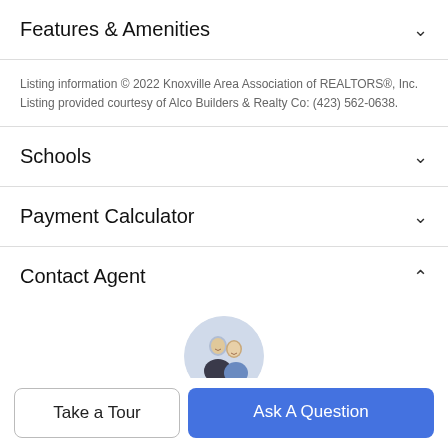Features & Amenities
Listing information © 2022 Knoxville Area Association of REALTORS®, Inc. Listing provided courtesy of Alco Builders & Realty Co: (423) 562-0638.
Schools
Payment Calculator
Contact Agent
[Figure (photo): Circular agent profile photo showing a man and woman]
Take a Tour
Ask A Question